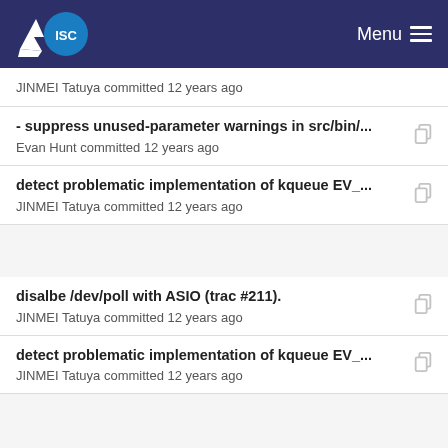ISC Menu
JINMEI Tatuya committed 12 years ago
- suppress unused-parameter warnings in src/bin/...
Evan Hunt committed 12 years ago
detect problematic implementation of kqueue EV_...
JINMEI Tatuya committed 12 years ago
disalbe /dev/poll with ASIO (trac #211).
JINMEI Tatuya committed 12 years ago
detect problematic implementation of kqueue EV_...
JINMEI Tatuya committed 12 years ago